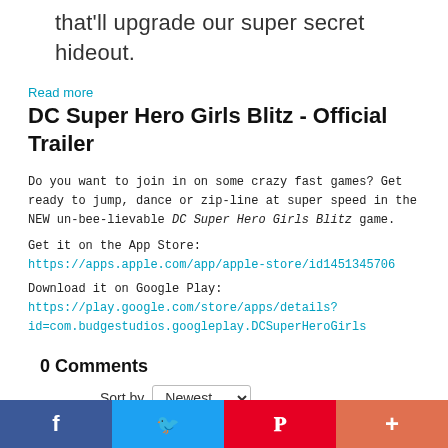that'll upgrade our super secret hideout.
Read more
DC Super Hero Girls Blitz - Official Trailer
Do you want to join in on some crazy fast games? Get ready to jump, dance or zip-line at super speed in the NEW un-bee-lievable DC Super Hero Girls Blitz game.
Get it on the App Store: https://apps.apple.com/app/apple-store/id1451345706
Download it on Google Play: https://play.google.com/store/apps/details?id=com.budgestudios.googleplay.DCSuperHeroGirls
0 Comments
Sort by Newest
Facebook Twitter Pinterest +